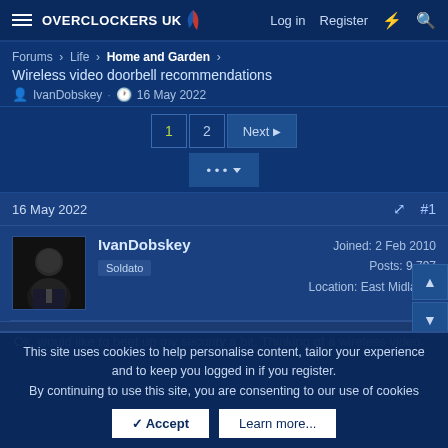Overclockers UK — Log in  Register
Forums > Life > Home and Garden >
Wireless video doorbell recommendations
IvanDobskey · 16 May 2022
Page 1  2  Next
16 May 2022  #1
IvanDobskey
Soldato
Joined: 2 Feb 2010
Posts: 9,797
Location: East Midlands
Ok, would like to beef up my security a bit. Thinking of a wireless video
This site uses cookies to help personalise content, tailor your experience and to keep you logged in if you register.
By continuing to use this site, you are consenting to our use of cookies